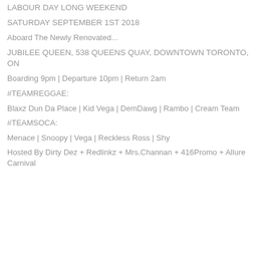LABOUR DAY LONG WEEKEND
SATURDAY SEPTEMBER 1ST 2018
Aboard The Newly Renovated...
JUBILEE QUEEN, 538 QUEENS QUAY, DOWNTOWN TORONTO, ON
Boarding 9pm | Departure 10pm | Return 2am
#TEAMREGGAE:
Blaxz Dun Da Place | Kid Vega | DemDawg | Rambo | Cream Team
#TEAMSOCA:
Menace | Snoopy | Vega | Reckless Ross | Shy
Hosted By Dirty Dez + Redlinkz + Mrs.Channan + 416Promo + Allure Carnival